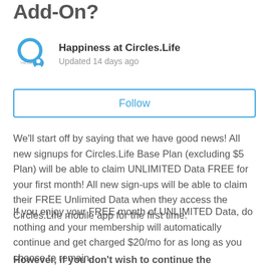Add-On?
Happiness at Circles.Life
Updated 14 days ago
Follow
We'll start off by saying that we have good news! All new signups for Circles.Life Base Plan (excluding $5 Plan) will be able to claim UNLIMITED Data FREE for your first month! All new sign-ups will be able to claim their FREE Unlimited Data when they access the Circles.Life mobile app for the first time.
If you enjoy your FREE month of UNLIMITED Data, do nothing and your membership will automatically continue and get charged $20/mo for as long as you choose to remain.
However, if you don't wish to continue the subscription